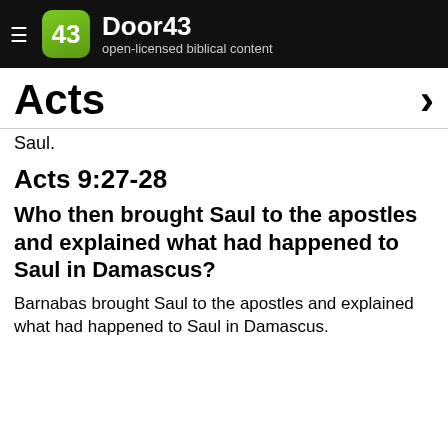Door43 open-licensed biblical content
Acts
Saul.
Acts 9:27-28
Who then brought Saul to the apostles and explained what had happened to Saul in Damascus?
Barnabas brought Saul to the apostles and explained what had happened to Saul in Damascus.